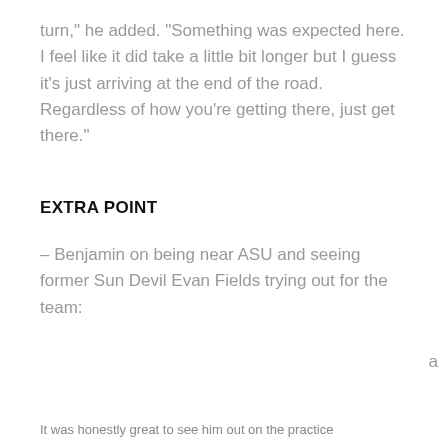turn," he added. "Something was expected here. I feel like it did take a little bit longer but I guess it's just arriving at the end of the road. Regardless of how you're getting there, just get there."
EXTRA POINT
– Benjamin on being near ASU and seeing former Sun Devil Evan Fields trying out for the team:
[Figure (screenshot): Cookie consent overlay on dark black rounded background. Text reads: 'The MySports.Today™ Network uses cookies to ensure you receive the best experience while on our network of websites. Learn more' with a white 'Got it!' button below.]
It was honestly great to see him out on the practice